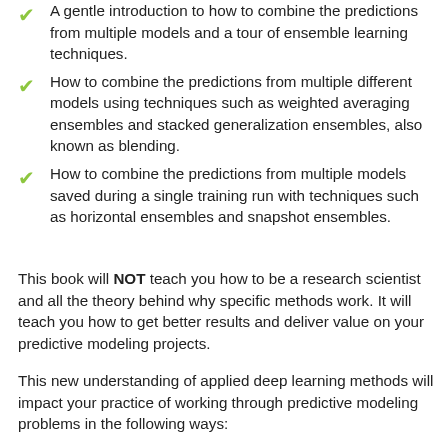A gentle introduction to how to combine the predictions from multiple models and a tour of ensemble learning techniques.
How to combine the predictions from multiple different models using techniques such as weighted averaging ensembles and stacked generalization ensembles, also known as blending.
How to combine the predictions from multiple models saved during a single training run with techniques such as horizontal ensembles and snapshot ensembles.
This book will NOT teach you how to be a research scientist and all the theory behind why specific methods work. It will teach you how to get better results and deliver value on your predictive modeling projects.
This new understanding of applied deep learning methods will impact your practice of working through predictive modeling problems in the following ways: